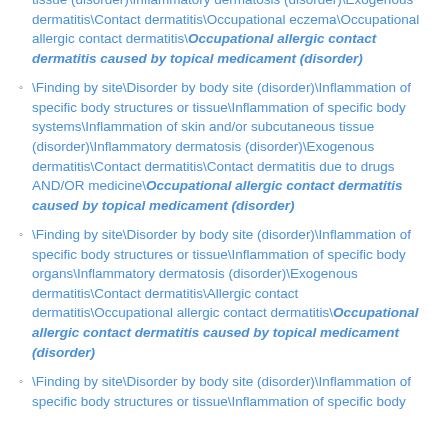tissue (disorder)\Inflammatory dermatosis (disorder)\Exogenous dermatitis\Contact dermatitis\Occupational eczema\Occupational allergic contact dermatitis\Occupational allergic contact dermatitis caused by topical medicament (disorder)
\Finding by site\Disorder by body site (disorder)\Inflammation of specific body structures or tissue\Inflammation of specific body systems\Inflammation of skin and/or subcutaneous tissue (disorder)\Inflammatory dermatosis (disorder)\Exogenous dermatitis\Contact dermatitis\Contact dermatitis due to drugs AND/OR medicine\Occupational allergic contact dermatitis caused by topical medicament (disorder)
\Finding by site\Disorder by body site (disorder)\Inflammation of specific body structures or tissue\Inflammation of specific body organs\Inflammatory dermatosis (disorder)\Exogenous dermatitis\Contact dermatitis\Allergic contact dermatitis\Occupational allergic contact dermatitis\Occupational allergic contact dermatitis caused by topical medicament (disorder)
\Finding by site\Disorder by body site (disorder)\Inflammation of specific body structures or tissue\Inflammation of specific body